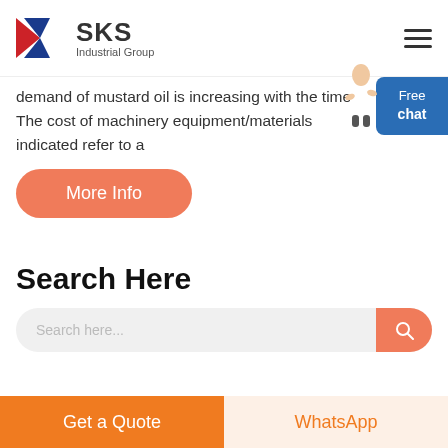[Figure (logo): SKS Industrial Group logo with red and blue K chevron mark and bold SKS text with Industrial Group subtitle]
demand of mustard oil is increasing with the time The cost of machinery equipment/materials indicated refer to a
More Info
Search Here
Get a Quote
WhatsApp